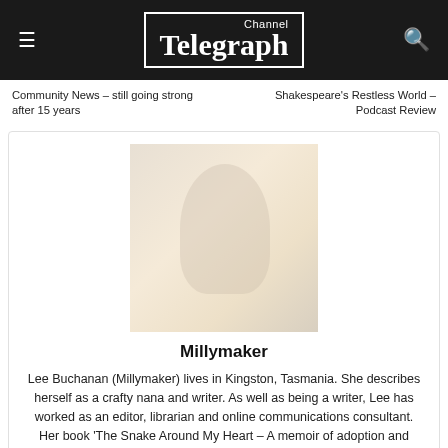Channel Telegraph
Community News – still going strong after 15 years
Shakespeare's Restless World – Podcast Review
[Figure (photo): Profile photo of Millymaker (Lee Buchanan), a woman with light hair, seated, wearing a yellow garment]
Millymaker
Lee Buchanan (Millymaker) lives in Kingston, Tasmania. She describes herself as a crafty nana and writer. As well as being a writer, Lee has worked as an editor, librarian and online communications consultant. Her book 'The Snake Around My Heart – A memoir of adoption and rediscovery' was published in November 2018 and has received lots of wonderful feedback. A limited number of copies are still available.